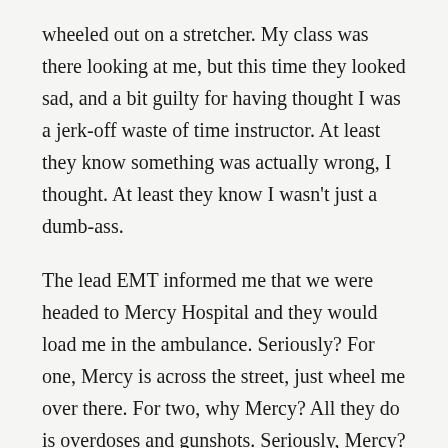wheeled out on a stretcher.  My class was there looking at me, but this time they looked sad, and a bit guilty for having thought I was a jerk-off waste of time instructor.  At least they know something was actually wrong, I thought.  At least they know I wasn't just a dumb-ass.
The lead EMT informed me that we were headed to Mercy Hospital and they would load me in the ambulance.  Seriously?  For one, Mercy is across the street, just wheel me over there.  For two, why Mercy?  All they do is overdoses and gunshots.  Seriously, Mercy?  But in and off I was.  And in and out I was.
I was being wheeled through the hallway past a